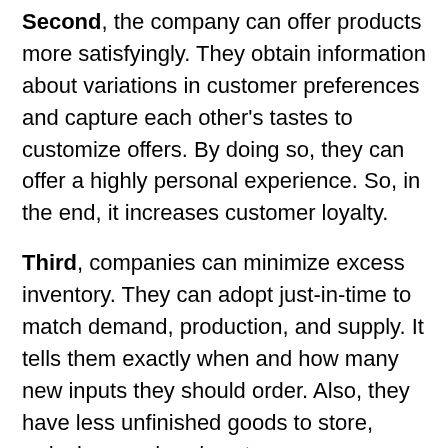Second, the company can offer products more satisfyingly. They obtain information about variations in customer preferences and capture each other's tastes to customize offers. By doing so, they can offer a highly personal experience. So, in the end, it increases customer loyalty.
Third, companies can minimize excess inventory. They can adopt just-in-time to match demand, production, and supply. It tells them exactly when and how many new inputs they should order. Also, they have less unfinished goods to store, reducing overhead costs.
Fourth, customers can find what they need at a reasonable price. They are more involved in product making decisions.